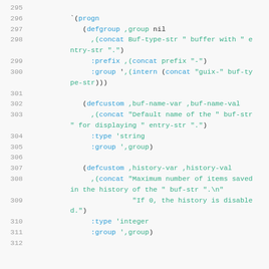[Figure (screenshot): Source code listing in Lisp/Emacs Lisp syntax with line numbers 295-312, showing defgroup and defcustom forms with syntax highlighting (blue keywords, teal variables/strings).]